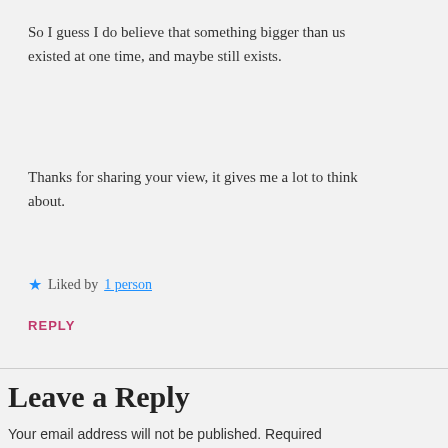So I guess I do believe that something bigger than us existed at one time, and maybe still exists.
Thanks for sharing your view, it gives me a lot to think about.
★ Liked by 1 person
REPLY
Leave a Reply
Your email address will not be published. Required